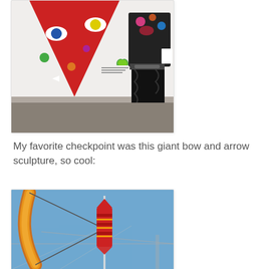[Figure (photo): Person standing next to a large red triangular artwork with colorful eyes and dots on it, in what appears to be a museum or gallery setting. A small heart artwork is visible on the white wall.]
My favorite checkpoint was this giant bow and arrow sculpture, so cool:
[Figure (photo): A large golden/orange bow and arrow sculpture outdoors against a blue sky, with a bridge visible in the background. The arrow is red and mounted upright with a string pulled back on the bow.]